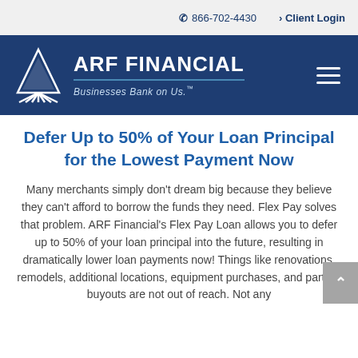☎ 866-702-4430  > Client Login
[Figure (logo): ARF Financial logo with triangle graphic and tagline 'Businesses Bank on Us.']
Defer Up to 50% of Your Loan Principal for the Lowest Payment Now
Many merchants simply don't dream big because they believe they can't afford to borrow the funds they need. Flex Pay solves that problem. ARF Financial's Flex Pay Loan allows you to defer up to 50% of your loan principal into the future, resulting in dramatically lower loan payments now! Things like renovations, remodels, additional locations, equipment purchases, and partner buyouts are not out of reach. Not any...